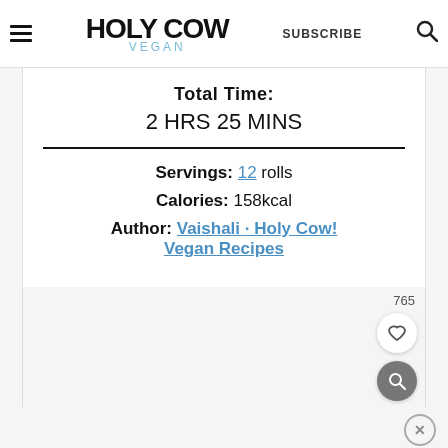Holy Cow Vegan — SUBSCRIBE
TOTAL TIME:
2 HRS 25 MINS
Servings: 12 rolls
Calories: 158kcal
Author: Vaishali · Holy Cow! Vegan Recipes